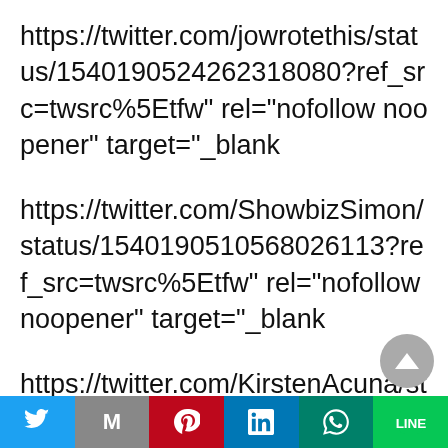https://twitter.com/jowrotethis/status/154019052426231​8080?ref_src=twsrc%5Etfw" rel="nofollow noopener" target="_blank
https://twitter.com/ShowbizSimon/status/154019051056​8026113?ref_src=twsrc%5Etfw" rel="nofollow noopener" target="_blank
https://twitter.com/KirstenAcuna/status/1540190505866​100737?ref_src=twsrc%5Etfw" rel="nofollow noopener" target="_blank
https://twitter.com/Lulamaybelle/status/1540190495932​8939602?ref_src=twsrc%5Etfw" rel="nofollow noopener" target="_blank (partial)